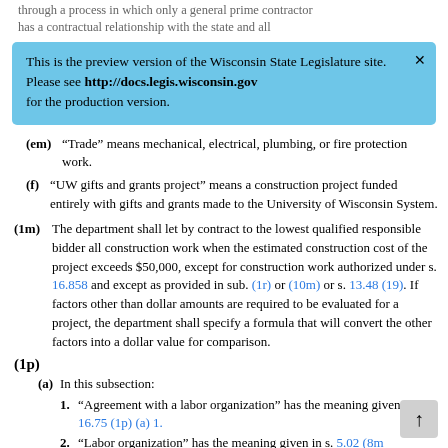through a process in which only a general prime contractor has a contractual relationship with the state and all
This is the preview version of the Wisconsin State Legislature site. Please see http://docs.legis.wisconsin.gov for the production version.
(em) “Trade” means mechanical, electrical, plumbing, or fire protection work.
(f) “UW gifts and grants project” means a construction project funded entirely with gifts and grants made to the University of Wisconsin System.
(1m) The department shall let by contract to the lowest qualified responsible bidder all construction work when the estimated construction cost of the project exceeds $50,000, except for construction work authorized under s. 16.858 and except as provided in sub. (1r) or (10m) or s. 13.48 (19). If factors other than dollar amounts are required to be evaluated for a project, the department shall specify a formula that will convert the other factors into a dollar value for comparison.
(1p)
(a) In this subsection:
1. “Agreement with a labor organization” has the meaning given in s. 16.75 (1p) (a) 1.
2. “Labor organization” has the meaning given in s. 5.02 (8m)